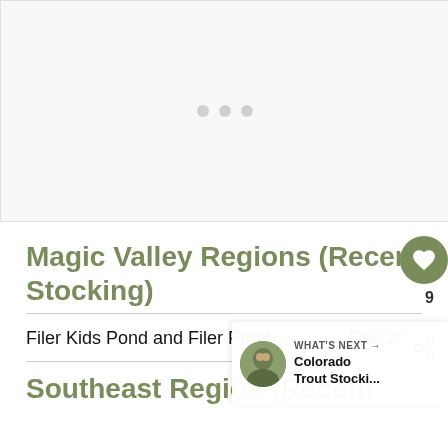[Figure (other): Advertisement placeholder with three light gray dots centered on white/light gray background]
Magic Valley Regions (Recent Stocking)
Filer Kids Pond and Filer Pond    Dec 20-2
Southeast Region (Recent